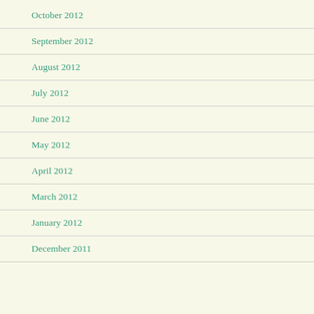October 2012
September 2012
August 2012
July 2012
June 2012
May 2012
April 2012
March 2012
January 2012
December 2011